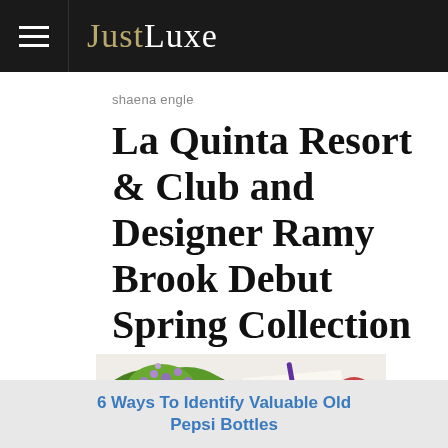JustLuxe
shaena engle
La Quinta Resort & Club and Designer Ramy Brook Debut Spring Collection
[Figure (photo): Photo of flowers and a gift card reading 'Happy Mother's Day' with twine and purple pen on white background]
6 Ways To Identify Valuable Old Pepsi Bottles